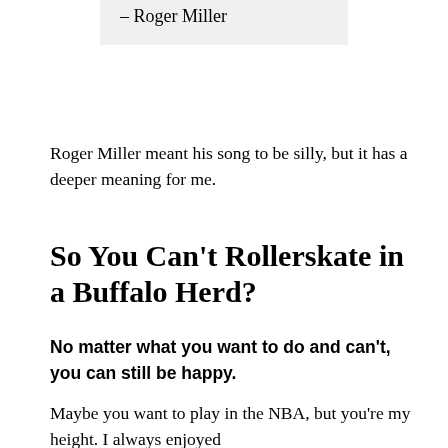– Roger Miller
Roger Miller meant his song to be silly, but it has a deeper meaning for me.
So You Can't Rollerskate in a Buffalo Herd?
No matter what you want to do and can't, you can still be happy.
Maybe you want to play in the NBA, but you're my height. I always enjoyed